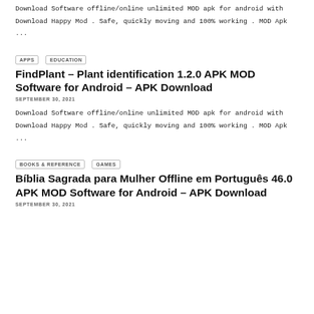Download Software offline/online unlimited MOD apk for android with Download Happy Mod . Safe, quickly moving and 100% working . MOD Apk ...
APPS  EDUCATION
FindPlant – Plant identification 1.2.0 APK MOD Software for Android – APK Download
SEPTEMBER 30, 2021
Download Software offline/online unlimited MOD apk for android with Download Happy Mod . Safe, quickly moving and 100% working . MOD Apk ...
BOOKS & REFERENCE  GAMES
Bíblia Sagrada para Mulher Offline em Português 46.0 APK MOD Software for Android – APK Download
SEPTEMBER 30, 2021